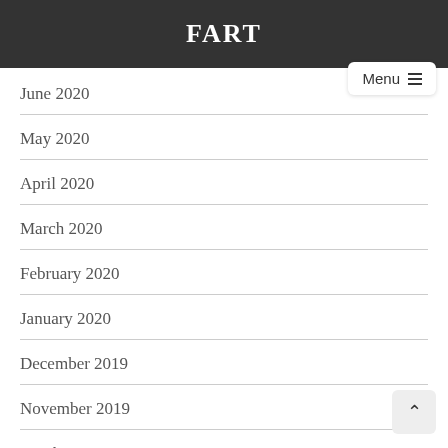FART
June 2020
May 2020
April 2020
March 2020
February 2020
January 2020
December 2019
November 2019
October 2019